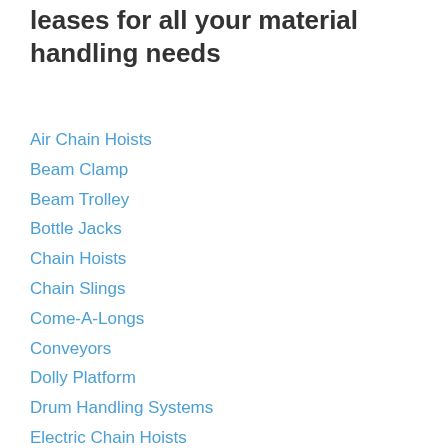leases for all your material handling needs
Air Chain Hoists
Beam Clamp
Beam Trolley
Bottle Jacks
Chain Hoists
Chain Slings
Come-A-Longs
Conveyors
Dolly Platform
Drum Handling Systems
Electric Chain Hoists
Hydraulic Box Dumpers
Hydraulic Toe Jacks
Machinery Skates
Material Lifts